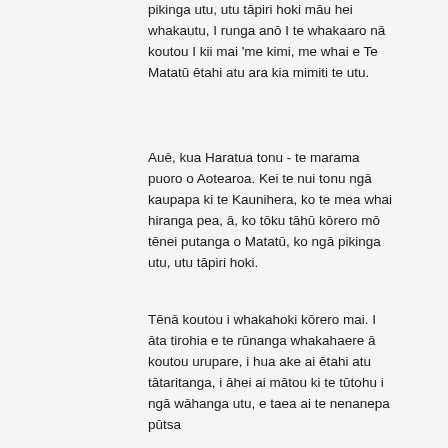pikinga utu, utu tāpiri hoki māu hei whakautu, I runga anō I te whakaaro nā koutou I kii mai 'me kimi, me whai e Te Matatū ētahi atu ara kia mimiti te utu.
Auē, kua Haratua tonu - te marama puoro o Aotearoa. Kei te nui tonu ngā kaupapa ki te Kaunihera, ko te mea whai hiranga pea, ā, ko tōku tāhū kōrero mō tēnei putanga o Matatū, ko ngā pikinga utu, utu tāpiri hoki.
Tēnā koutou i whakahoki kōrero mai. I āta tirohia e te rūnanga whakahaere ā koutou urupare, i hua ake ai ētahi atu tātaritanga, i āhei ai mātou ki te tūtohu i ngā wāhanga utu, e taea ai te nenanepa pūtsa